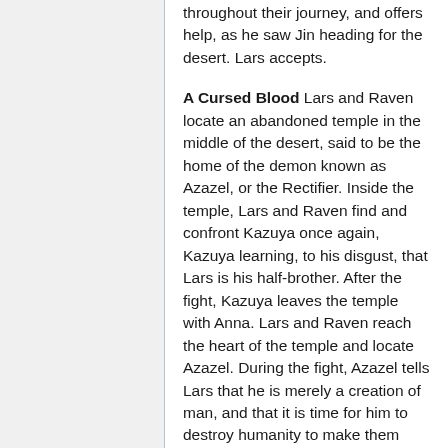throughout their journey, and offers help, as he saw Jin heading for the desert. Lars accepts.
A Cursed Blood Lars and Raven locate an abandoned temple in the middle of the desert, said to be the home of the demon known as Azazel, or the Rectifier. Inside the temple, Lars and Raven find and confront Kazuya once again, Kazuya learning, to his disgust, that Lars is his half-brother. After the fight, Kazuya leaves the temple with Anna. Lars and Raven reach the heart of the temple and locate Azazel. During the fight, Azazel tells Lars that he is merely a creation of man, and that it is time for him to destroy humanity to make them atone for their sins, but as he is too injured to continue fighting, Azazel apparently self-destructs. Lars and Raven flee the temple as it